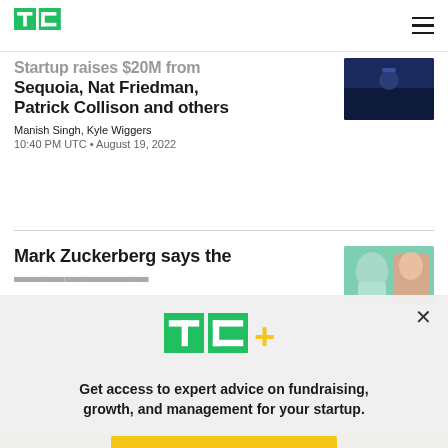TechCrunch
Startup raises $20M from Sequoia, Nat Friedman, Patrick Collison and others
Manish Singh, Kyle Wiggers
10:40 PM UTC • August 19, 2022
Mark Zuckerberg says the
[Figure (other): TC+ logo with green TC letters and yellow plus sign]
Get access to expert advice on fundraising, growth, and management for your startup.
EXPLORE NOW